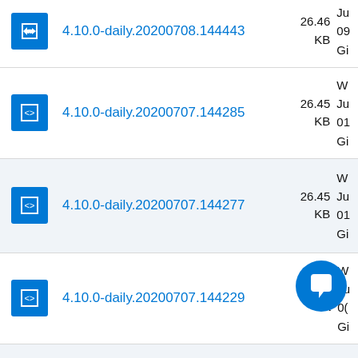4.10.0-daily.20200708.144443 — 26.46 KB
4.10.0-daily.20200707.144285 — 26.45 KB
4.10.0-daily.20200707.144277 — 26.45 KB
4.10.0-daily.20200707.144229 — 26.47 KB
(partial row)